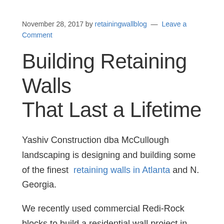November 28, 2017 by retainingwallblog — Leave a Comment
Building Retaining Walls That Last a Lifetime
Yashiv Construction dba McCullough landscaping is designing and building some of the finest retaining walls in Atlanta and N. Georgia.
We recently used commercial Redi-Rock blocks to build a residential wall project in Atlanta.
Gravity Walls Save Valuable Space For Your Backyard Makeover